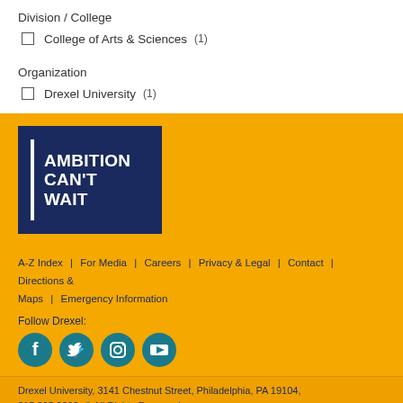Division / College
College of Arts & Sciences (1)
Organization
Drexel University (1)
[Figure (logo): Drexel University 'Ambition Can't Wait' logo — dark navy blue square with white vertical bar on left and bold white text reading AMBITION CAN'T WAIT]
A-Z Index | For Media | Careers | Privacy & Legal | Contact | Directions & Maps | Emergency Information
Follow Drexel:
[Figure (illustration): Four circular teal social media icons: Facebook, Twitter, Instagram, YouTube]
Drexel University, 3141 Chestnut Street, Philadelphia, PA 19104, 215.895.2000, © All Rights Reserved